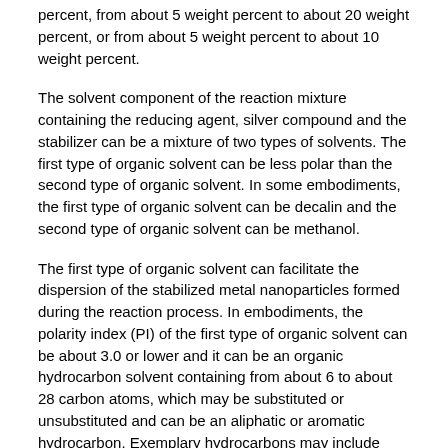percent, from about 5 weight percent to about 20 weight percent, or from about 5 weight percent to about 10 weight percent.
The solvent component of the reaction mixture containing the reducing agent, silver compound and the stabilizer can be a mixture of two types of solvents. The first type of organic solvent can be less polar than the second type of organic solvent. In some embodiments, the first type of organic solvent can be decalin and the second type of organic solvent can be methanol.
The first type of organic solvent can facilitate the dispersion of the stabilized metal nanoparticles formed during the reaction process. In embodiments, the polarity index (PI) of the first type of organic solvent can be about 3.0 or lower and it can be an organic hydrocarbon solvent containing from about 6 to about 28 carbon atoms, which may be substituted or unsubstituted and can be an aliphatic or aromatic hydrocarbon. Exemplary hydrocarbons may include aliphatic hydrocarbons such as heptane, undecane, dodecane, tridecane, tetradecane, isoparaffinic hydrocarbons such as isodecane, isododecane and commercially available mixtures of isoparaffins such as